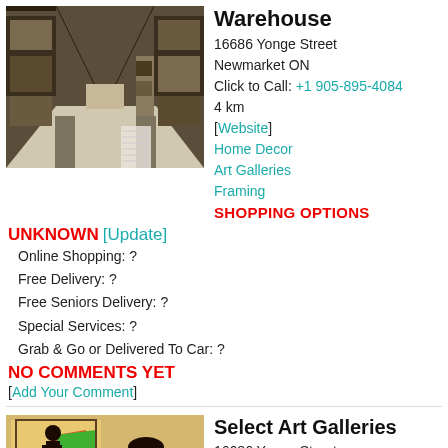[Figure (photo): Interior of an art framing warehouse with rows of framed pictures on both sides of a narrow aisle]
Warehouse
16686 Yonge Street
Newmarket ON
Click to Call: +1 905-895-4084
4 km
[Website]
Home Decor
Art Galleries
Framing
SHOPPING OPTIONS
UNKNOWN [Update]
Online Shopping: ?
Free Delivery: ?
Free Seniors Delivery: ?
Special Services: ?
Grab & Go or Delivered To Car: ?
NO COMMENTS YET
[Add Your Comment]
[Figure (photo): Interior of an art gallery with colorful paintings visible]
Select Art Galleries
16686 Yonge Street